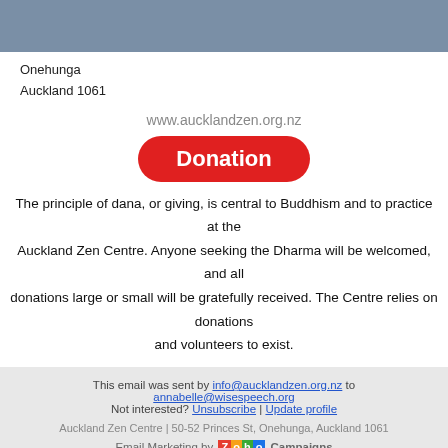Onehunga
Auckland 1061
www.aucklandzen.org.nz
[Figure (other): Red rounded rectangle button labeled 'Donation' in white bold text]
The principle of dana, or giving, is central to Buddhism and to practice at the Auckland Zen Centre. Anyone seeking the Dharma will be welcomed, and all donations large or small will be gratefully received. The Centre relies on donations and volunteers to exist.
This email was sent by info@aucklandzen.org.nz to annabelle@wisespeech.org Not interested? Unsubscribe | Update profile Auckland Zen Centre | 50-52 Princes St, Onehunga, Auckland 1061 Email Marketing by Zoho Campaigns